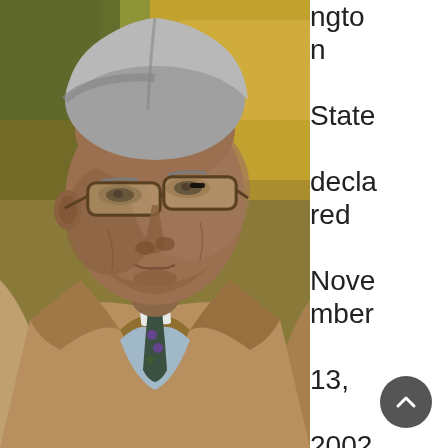[Figure (photo): Close-up portrait of an older man with gray hair, wearing glasses, a beige/tan trench coat, light blue collared shirt, and a patterned tie with purple and green medallion designs. Background is blurred with autumn foliage colors (yellow/orange/green). The man appears to be looking slightly downward and to the side.]
ngton State declared November 13, 2002 to be Dr. Homer Harris Day, and the